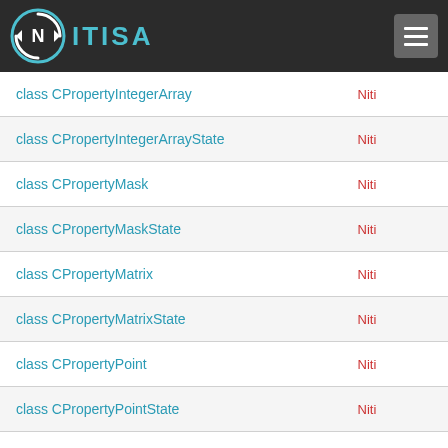NITISA
| Class | Namespace |
| --- | --- |
| class CPropertyIntegerArray | Niti... |
| class CPropertyIntegerArrayState | Niti... |
| class CPropertyMask | Niti... |
| class CPropertyMaskState | Niti... |
| class CPropertyMatrix | Niti... |
| class CPropertyMatrixState | Niti... |
| class CPropertyPoint | Niti... |
| class CPropertyPointState | Niti... |
| class CPropertyPointB | Niti... |
| class CPropertyPointBState | Niti... |